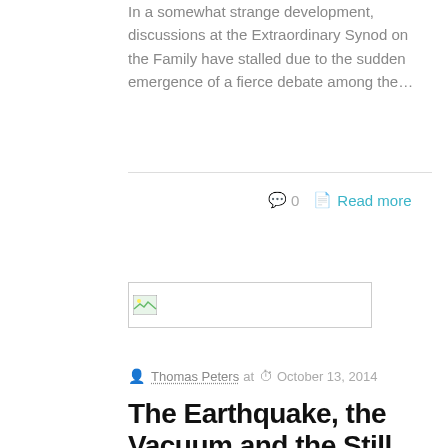In a somewhat strange development, discussions at the Extraordinary Synod on the Family have stalled due to the sudden emergence of a fierce debate among the…
0   Read more
[Figure (photo): Image placeholder with broken image icon, showing a landscape image thumbnail area]
Thomas Peters at   October 13, 2014
The Earthquake, the Vacuum and the Still